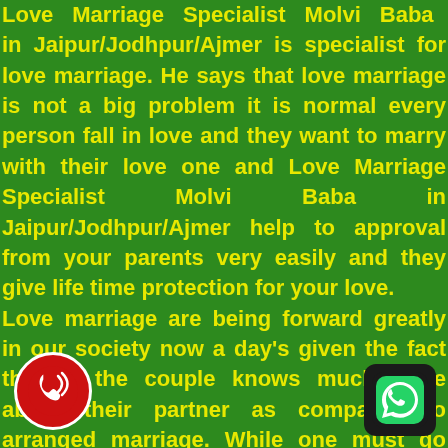Love Marriage Specialist Molvi Baba in Jaipur/Jodhpur/Ajmer is specialist for love marriage. He says that love marriage is not a big problem it is normal every person fall in love and they want to marry with their love one and Love Marriage Specialist Molvi Baba in Jaipur/Jodhpur/Ajmer help to approval from your parents very easily and they give life time protection for your love. Love marriage are being forward greatly in our society now a day's given the fact that in the couple knows much more about their partner as compared to arranged marriage. While one must go ahead with this, they must also astrological guidance for their love marriage. Love Marriage Specialist Molvi Baba in Jaipur/Jodhpur/Ajmer Th because, planets are hung influences on our li l can help determine the consequences of any decision we
[Figure (illustration): Red phone call icon in a circular red badge with white border, positioned at bottom left]
[Figure (illustration): WhatsApp logo icon in a dark rounded square, positioned at bottom right]